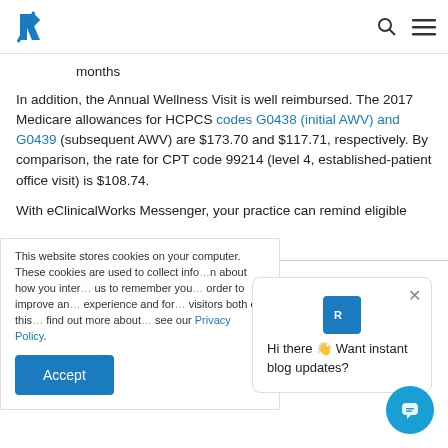R [logo] [search icon] [menu icon]
months
In addition, the Annual Wellness Visit is well reimbursed. The 2017 Medicare allowances for HCPCS codes G0438 (initial AWV) and G0439 (subsequent AWV) are $173.70 and $117.71, respectively. By comparison, the rate for CPT code 99214 (level 4, established-patient office visit) is $108.74.
With eClinicalWorks Messenger, your practice can remind eligible
This website stores cookies on your computer. These cookies are used to collect information about how you interact with our website and allow us to remember you. We use this information in order to improve and customize your browsing experience and for analytics and metrics about our visitors both on this website and other media. To find out more about the cookies we use, please see our Privacy Policy.
Hi there 👋 Want instant blog updates?